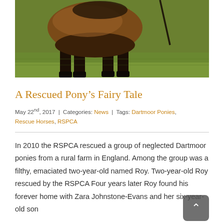[Figure (photo): Photo of a brown/bay horse (pony) standing on grass, showing the body from mid-torso down to hooves, with a saddle partially visible at top and a lead rope at right]
A Rescued Pony's Fairy Tale
May 22nd, 2017  |  Categories: News  |  Tags: Dartmoor Ponies, Rescue Horses, RSPCA
In 2010 the RSPCA rescued a group of neglected Dartmoor ponies from a rural farm in England. Among the group was a filthy, emaciated two-year-old named Roy. Two-year-old Roy rescued by the RSPCA Four years later Roy found his forever home with Zara Johnstone-Evans and her six-year-old son